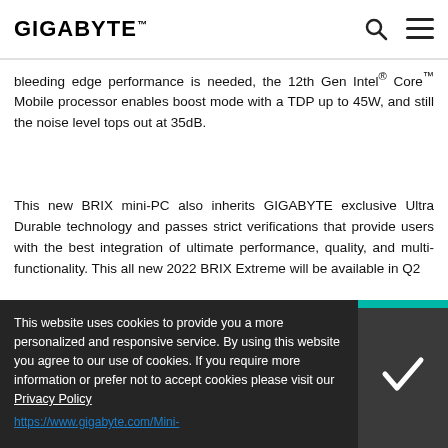GIGABYTE
bleeding edge performance is needed, the 12th Gen Intel® Core™ Mobile processor enables boost mode with a TDP up to 45W, and still the noise level tops out at 35dB.
This new BRIX mini-PC also inherits GIGABYTE exclusive Ultra Durable technology and passes strict verifications that provide users with the best integration of ultimate performance, quality, and multi-functionality. This all new 2022 BRIX Extreme will be available in Q2
This website uses cookies to provide you a more personalized and responsive service. By using this website you agree to our use of cookies. If you require more information or prefer not to accept cookies please visit our Privacy Policy
https://www.gigabyte.com/Mini-